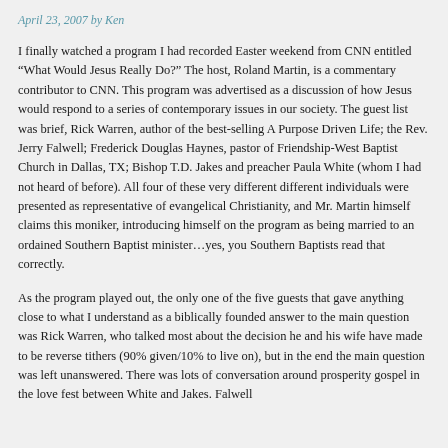April 23, 2007 by Ken
I finally watched a program I had recorded Easter weekend from CNN entitled “What Would Jesus Really Do?” The host, Roland Martin, is a commentary contributor to CNN. This program was advertised as a discussion of how Jesus would respond to a series of contemporary issues in our society. The guest list was brief, Rick Warren, author of the best-selling A Purpose Driven Life; the Rev. Jerry Falwell; Frederick Douglas Haynes, pastor of Friendship-West Baptist Church in Dallas, TX; Bishop T.D. Jakes and preacher Paula White (whom I had not heard of before). All four of these very different different individuals were presented as representative of evangelical Christianity, and Mr. Martin himself claims this moniker, introducing himself on the program as being married to an ordained Southern Baptist minister…yes, you Southern Baptists read that correctly.
As the program played out, the only one of the five guests that gave anything close to what I understand as a biblically founded answer to the main question was Rick Warren, who talked most about the decision he and his wife have made to be reverse tithers (90% given/10% to live on), but in the end the main question was left unanswered. There was lots of conversation around prosperity gospel in the love fest between White and Jakes. Falwell